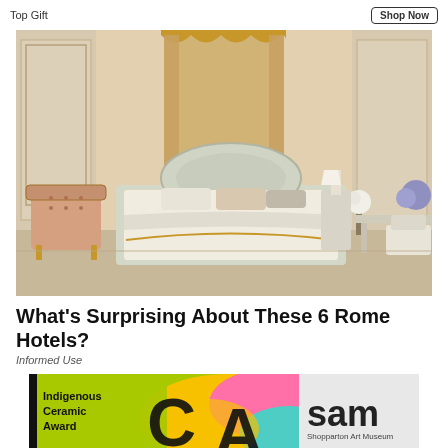Top Gift | Shop Now
[Figure (photo): Luxurious baroque-style hotel bedroom with ornate gold and cream four-poster bed, damask wallpaper, chandelier canopy, tufted armchair, flowers, and writing desk with chair]
What's Surprising About These 6 Rome Hotels?
Informed Use
[Figure (infographic): Banner advertisement for Shopparton Art Museum Indigenous Ceramic Award featuring 'CA' letters with colorful abstract shapes and 'sam Shopparton Art Museum' text]
Advertisement